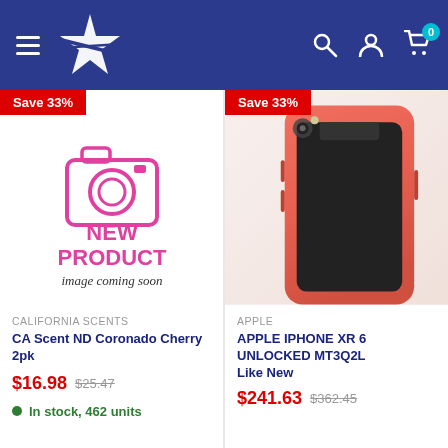Navigation header with logo, hamburger menu, search, account, and cart icons
[Figure (screenshot): New Product placeholder image with camera icon and text 'NEW PRODUCT image coming soon' in magenta]
Save 33%
CALIFORNIA SCENTS
CA Scent ND Coronado Cherry 2pk
$16.98  $25.47
In stock, 462 units
[Figure (photo): Apple iPhone XR in coral/orange color shown from front and back]
Save 33%
APPLE
APPLE IPHONE XR 6 UNLOCKED MT3Q2L Like New
$241.63  $362.45